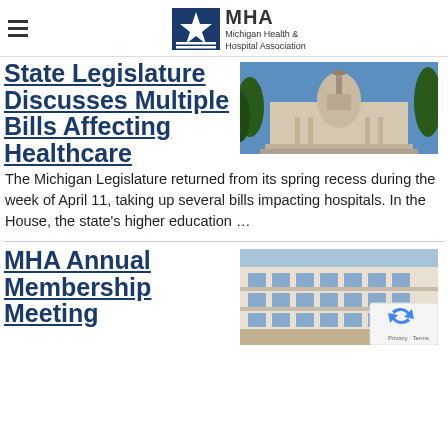MHA Michigan Health & Hospital Association
State Legislature Discusses Multiple Bills Affecting Healthcare
[Figure (photo): Michigan State Capitol building with blue sky and trees]
The Michigan Legislature returned from its spring recess during the week of April 11, taking up several bills impacting hospitals. In the House, the state's higher education ...
MHA Annual Membership Meeting
[Figure (photo): Multi-story Victorian-style hotel or building with balconies, reCAPTCHA badge visible in corner]